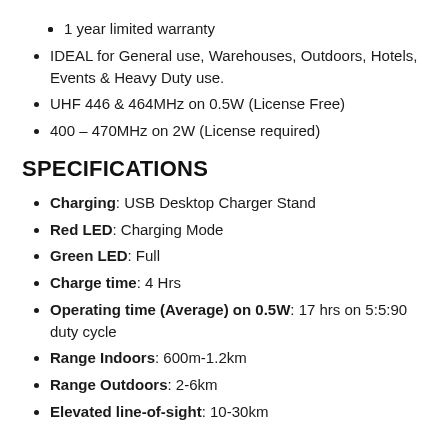1 year limited warranty
IDEAL for General use, Warehouses, Outdoors, Hotels, Events & Heavy Duty use.
UHF 446 & 464MHz on 0.5W (License Free)
400 – 470MHz on 2W (License required)
SPECIFICATIONS
Charging: USB Desktop Charger Stand
Red LED: Charging Mode
Green LED: Full
Charge time: 4 Hrs
Operating time (Average) on 0.5W: 17 hrs on 5:5:90 duty cycle
Range Indoors: 600m-1.2km
Range Outdoors: 2-6km
Elevated line-of-sight: 10-30km